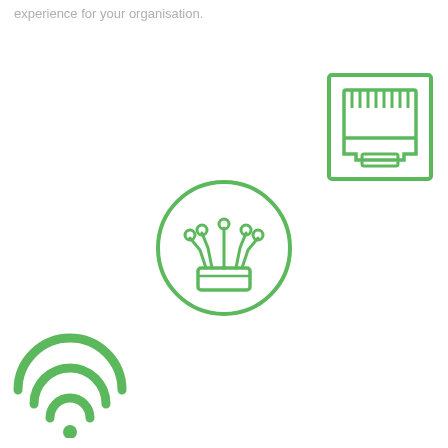experience for your organisation.
[Figure (illustration): Green outline icon of an Ethernet/RJ45 port connector inside a square border]
[Figure (illustration): Green outline icon of a network switch or IoT device with circuit traces, inside a circle]
[Figure (illustration): Green WiFi signal icon with three arcs and a dot at the bottom]